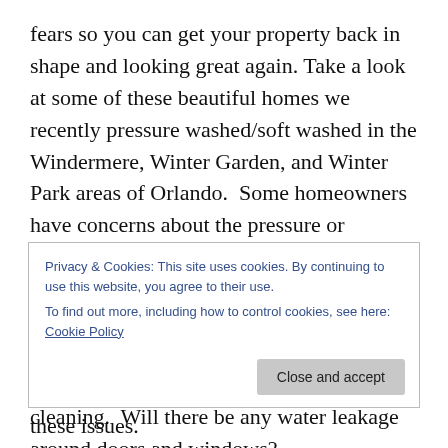fears so you can get your property back in shape and looking great again. Take a look at some of these beautiful homes we recently pressure washed/soft washed in the Windermere, Winter Garden, and Winter Park areas of Orlando.  Some homeowners have concerns about the pressure or chemicals being used to clean their properties.  Or when you have properties like the one's pictured with many windows & doors, a concern is will there be any streaking or spotting left on windows after cleaning.  Will there be any water leakage around doors and windows?  These are all valid concerns because most doors and
Privacy & Cookies: This site uses cookies. By continuing to use this website, you agree to their use.
To find out more, including how to control cookies, see here: Cookie Policy
Close and accept
to be cleaned carefully to minimize any of these issues.